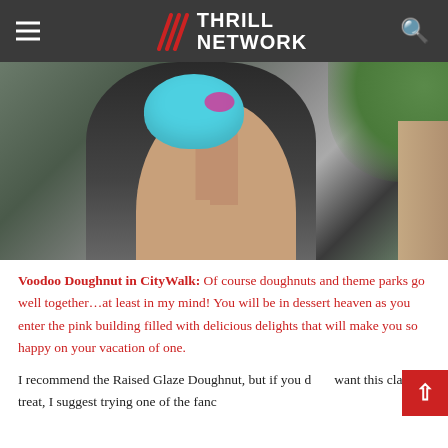THRILL NETWORK
[Figure (photo): A person holding up a blue frosted doughnut toward the camera, wearing a dark outfit, with greenery visible in the background.]
Voodoo Doughnut in CityWalk: Of course doughnuts and theme parks go well together…at least in my mind! You will be in dessert heaven as you enter the pink building filled with delicious delights that will make you so happy on your vacation of one.
I recommend the Raised Glaze Doughnut, but if you don't want this classic treat, I suggest trying one of the fancier